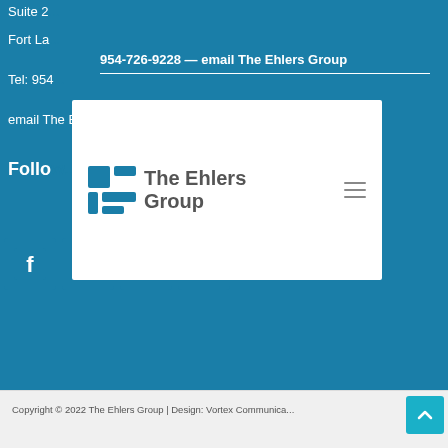Suite 2...
Fort La...
954-726-9228 — email The Ehlers Group
Tel: 954...
email The Ehlers Group
[Figure (logo): The Ehlers Group logo with hamburger menu in white popup card]
Follow...
[Figure (infographic): Social media icons: Facebook, Twitter, YouTube, LinkedIn]
Copyright © 2022 The Ehlers Group | Design: Vortex Communica...